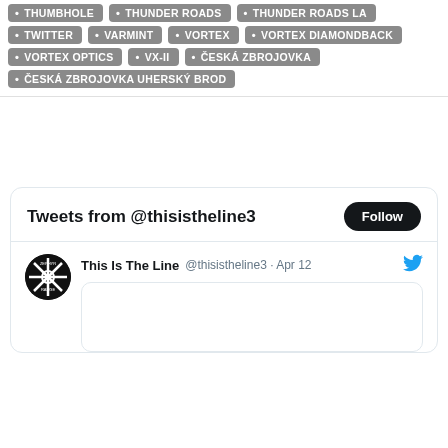THUMBHOLE
THUNDER ROADS
THUNDER ROADS LA
TWITTER
VARMINT
VORTEX
VORTEX DIAMONDBACK
VORTEX OPTICS
VX-II
ČESKÁ ZBROJOVKA
ČESKÁ ZBROJOVKA UHERSKÝ BROD
[Figure (screenshot): Twitter widget showing 'Tweets from @thisistheline3' with Follow button, and a tweet from 'This Is The Line @thisistheline3 · Apr 12' with a logo avatar and empty content box.]